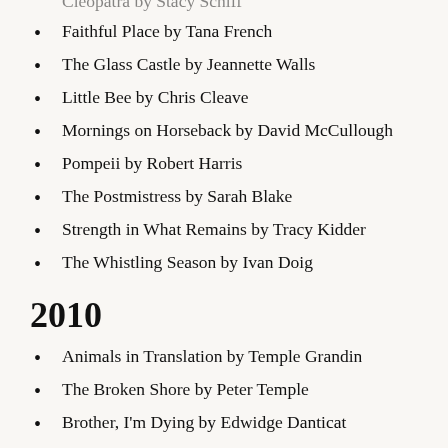Faithful Place by Tana French
The Glass Castle by Jeannette Walls
Little Bee by Chris Cleave
Mornings on Horseback by David McCullough
Pompeii by Robert Harris
The Postmistress by Sarah Blake
Strength in What Remains by Tracy Kidder
The Whistling Season by Ivan Doig
2010
Animals in Translation by Temple Grandin
The Broken Shore by Peter Temple
Brother, I'm Dying by Edwidge Danticat
The Comedians by Graham Greene
Little Heathens by Mildred Armstrong Kalish
Living Witness by Jane Haddam
Mountains Beyond Mountains by Tracy Kidder
Mudbound by Hillary Jordan